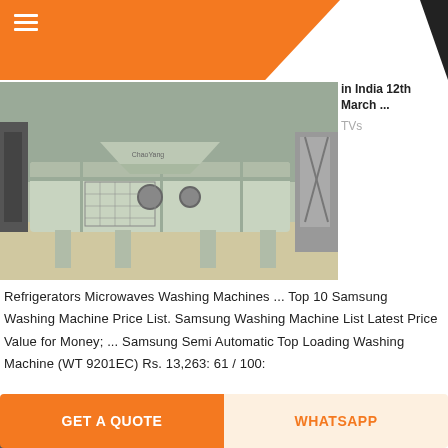[Figure (photo): Industrial sand washing or screening machine in a factory setting, light green/grey equipment on metal frame]
in India 12th March ... TVs
Refrigerators Microwaves Washing Machines ... Top 10 Samsung Washing Machine Price List. Samsung Washing Machine List Latest Price Value for Money; ... Samsung Semi Automatic Top Loading Washing Machine (WT 9201EC) Rs. 13,263: 61 / 100:
GET PRICE
[Figure (photo): Industrial machinery/crane equipment in outdoor or warehouse setting]
Westpoint Official Website France
GET A QUOTE   WHATSAPP